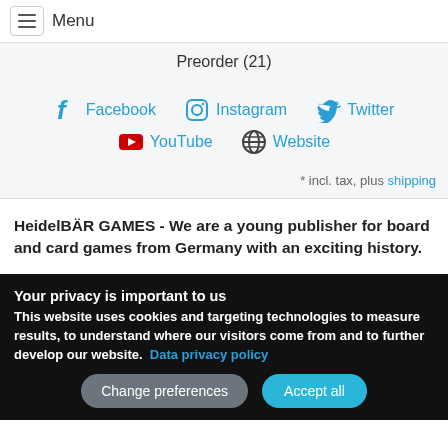≡ Menu
Preorder (21)
[Figure (infographic): Social media links: Facebook, Instagram, Twitter, YouTube, Website icons with labels]
* incl. tax, plus shipping
HeidelBÄR GAMES - We are a young publisher for board and card games from Germany with an exciting history.
Your privacy is important to us
This website uses cookies and targeting technologies to measure results, to understand where our visitors come from and to further develop our website. Data privacy policy
Change preferences   Accept all